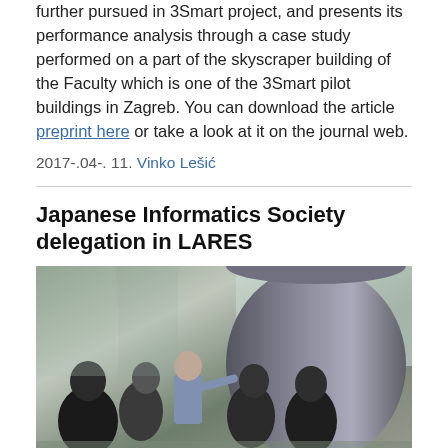further pursued in 3Smart project, and presents its performance analysis through a case study performed on a part of the skyscraper building of the Faculty which is one of the 3Smart pilot buildings in Zagreb. You can download the article preprint here or take a look at it on the journal web.
2017-.04-. 11. Vinko Lešić
Japanese Informatics Society delegation in LARES
[Figure (photo): Group of people standing indoors near a large cylindrical structure, viewed from behind and side, in what appears to be an academic or research facility.]
On Friday, March 3, 2017, LARES was visited by a delagation from Japaneese Informatics Society, consisted